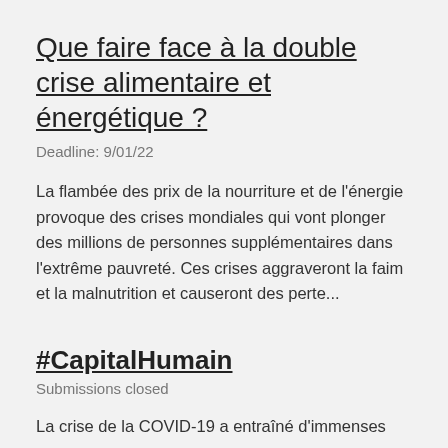Que faire face à la double crise alimentaire et énergétique ?
Deadline: 9/01/22
La flambée des prix de la nourriture et de l'énergie provoque des crises mondiales qui vont plonger des millions de personnes supplémentaires dans l'extrême pauvreté. Ces crises aggraveront la faim et la malnutrition et causeront des perte...
#CapitalHumain
Submissions closed
La crise de la COVID-19 a entraîné d'immenses